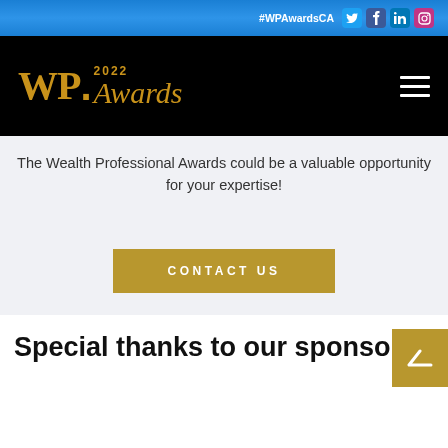#WPAwardsCA
[Figure (logo): WP Awards 2022 logo in gold on black background with hamburger menu icon]
The Wealth Professional Awards could be a valuable opportunity for your expertise!
CONTACT US
Special thanks to our sponsors